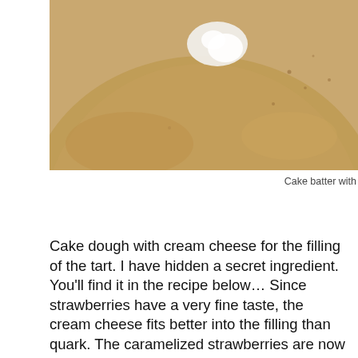[Figure (photo): Close-up of cake batter in a bowl with a dollop of cream or white ingredient being added, warm tan/beige color]
Cake batter with
Cake dough with cream cheese for the filling of the tart. I have hidden a secret ingredient. You’ll find it in the recipe below… Since strawberries have a very fine taste, the cream cheese fits better into the filling than quark. The caramelized strawberries are now allowed to sleep in a luxury fresh cheese bed.
[Figure (photo): Close-up macro photograph of caramelized/roasted strawberry halves on a dark slate surface, with sugar crystals visible on the bright red fruit]